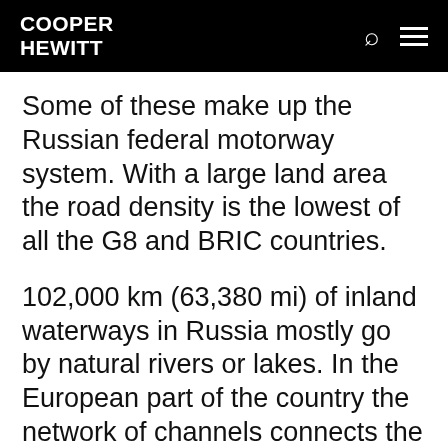COOPER HEWITT
Some of these make up the Russian federal motorway system. With a large land area the road density is the lowest of all the G8 and BRIC countries.
102,000 km (63,380 mi) of inland waterways in Russia mostly go by natural rivers or lakes. In the European part of the country the network of channels connects the basins of major rivers. Russia's capital, Moscow, is sometimes called “the port of the five seas”, due to